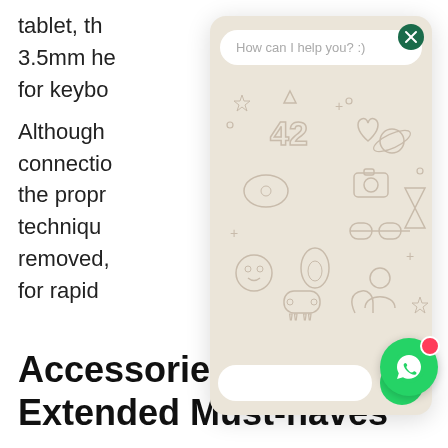tablet, th
3.5mm he
for keybo
Although
connectio
the propr
technique
removed,
for rapid
[Figure (screenshot): WhatsApp chat widget overlay with 'How can I help you? :)' prompt, decorative emoji pattern background, text input bar, green send button, WhatsApp floating icon, and close (X) button in dark green.]
Accessories – The Extended Must-haves